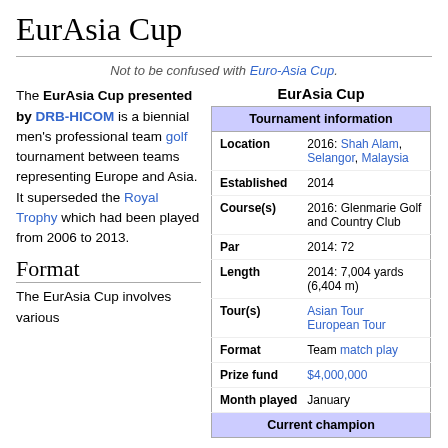EurAsia Cup
Not to be confused with Euro-Asia Cup.
The EurAsia Cup presented by DRB-HICOM is a biennial men's professional team golf tournament between teams representing Europe and Asia. It superseded the Royal Trophy which had been played from 2006 to 2013.
|  | EurAsia Cup |
| --- | --- |
| Tournament information |  |
| Location | 2016: Shah Alam, Selangor, Malaysia |
| Established | 2014 |
| Course(s) | 2016: Glenmarie Golf and Country Club |
| Par | 2014: 72 |
| Length | 2014: 7,004 yards (6,404 m) |
| Tour(s) | Asian Tour
European Tour |
| Format | Team match play |
| Prize fund | $4,000,000 |
| Month played | January |
| Current champion |  |
Format
The EurAsia Cup involves various